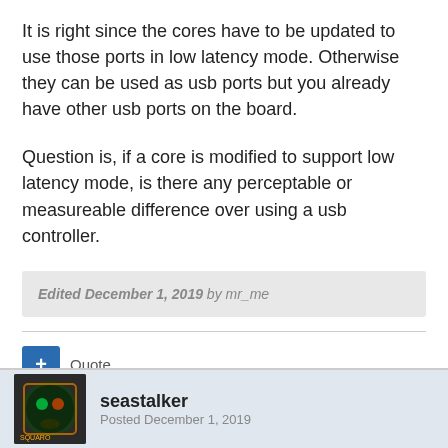It is right since the cores have to be updated to use those ports in low latency mode.  Otherwise they can be used as usb ports but you already have other usb ports on the board.
Question is, if a core is modified to support low latency mode, is there any perceptable or measureable difference over using a usb controller.
Edited December 1, 2019 by mr_me
Quote
seastalker